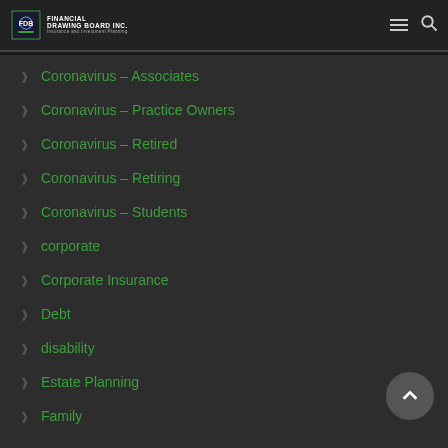Financial Drawing Board Inc. — Insurance and Investment Planning
Coronavirus – Associates
Coronavirus – Practice Owners
Coronavirus – Retired
Coronavirus – Retiring
Coronavirus – Students
corporate
Corporate Insurance
Debt
disability
Estate Planning
Family